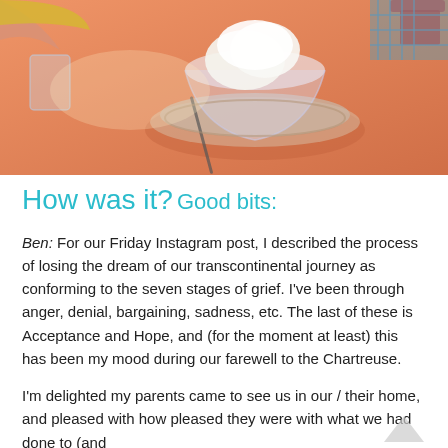[Figure (photo): A photo of an ice cream sundae in a glass bowl on an orange table, with a knife and other items visible, taken from above in bright sunlight.]
How was it?
Good bits:
Ben: For our Friday Instagram post, I described the process of losing the dream of our transcontinental journey as conforming to the seven stages of grief. I've been through anger, denial, bargaining, sadness, etc. The last of these is Acceptance and Hope, and (for the moment at least) this has been my mood during our farewell to the Chartreuse.
I'm delighted my parents came to see us in our / their home, and pleased with how pleased they were with what we had done to (and